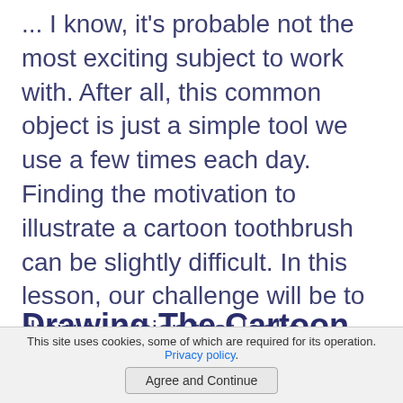... I know, it's probable not the most exciting subject to work with. After all, this common object is just a simple tool we use a few times each day. Finding the motivation to illustrate a cartoon toothbrush can be slightly difficult. In this lesson, our challenge will be to draw a version that looks realistic, appealing, but still easy to create. Ready? Let's see how we can sketch the object above in just a few easy steps ...
Drawing The Cartoon Toothbrush Using Simple
This site uses cookies, some of which are required for its operation. Privacy policy.